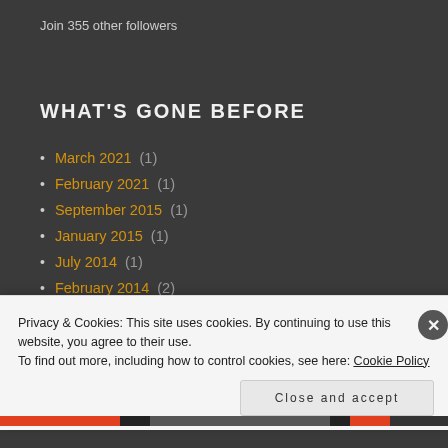Join 355 other followers
WHAT'S GONE BEFORE
March 2021 (1)
February 2021 (1)
September 2015 (1)
January 2015 (1)
July 2014 (1)
February 2014 (2)
January 2014 (3)
December 2013 (3)
December 2012 (1)
Privacy & Cookies: This site uses cookies. By continuing to use this website, you agree to their use. To find out more, including how to control cookies, see here: Cookie Policy
Close and accept